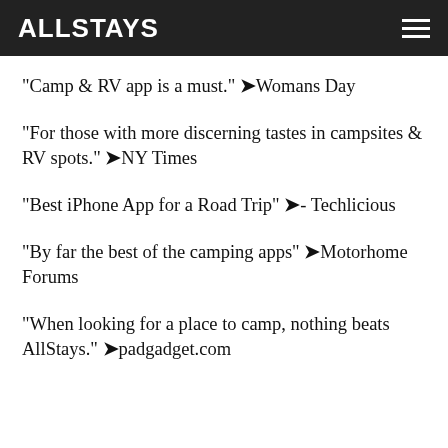ALLSTAYS
"Camp & RV app is a must." ➤Womans Day
"For those with more discerning tastes in campsites & RV spots." ➤NY Times
"Best iPhone App for a Road Trip" ➤- Techlicious
"By far the best of the camping apps" ➤Motorhome Forums
"When looking for a place to camp, nothing beats AllStays." ➤padgadget.com